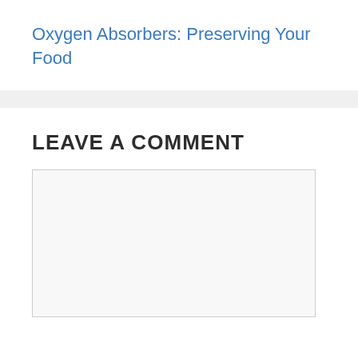Oxygen Absorbers: Preserving Your Food
LEAVE A COMMENT